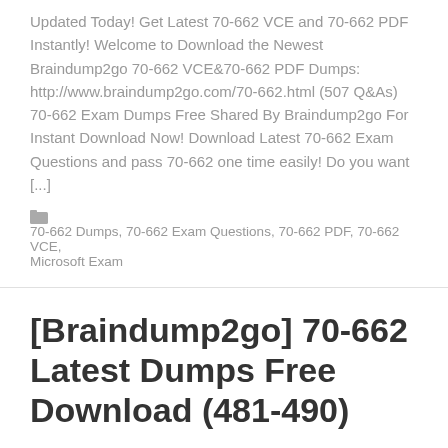Updated Today! Get Latest 70-662 VCE and 70-662 PDF Instantly! Welcome to Download the Newest Braindump2go 70-662 VCE&70-662 PDF Dumps: http://www.braindump2go.com/70-662.html (507 Q&As) 70-662 Exam Dumps Free Shared By Braindump2go For Instant Download Now! Download Latest 70-662 Exam Questions and pass 70-662 one time easily! Do you want [...]
70-662 Dumps, 70-662 Exam Questions, 70-662 PDF, 70-662 VCE, Microsoft Exam
[Braindump2go] 70-662 Latest Dumps Free Download (481-490)
January 25, 2016
MICROSOFT NEWS: 70-662 Exam Questions has been Updated Today! Get Latest 70-662 VCE and 70-662 PDF